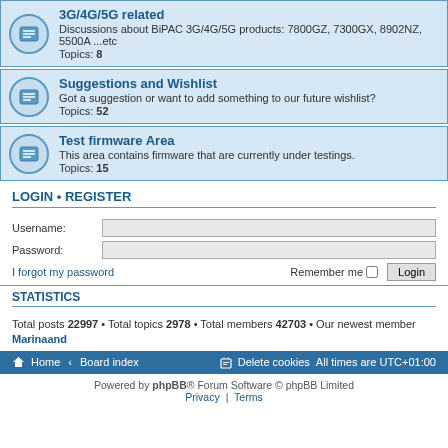3G/4G/5G related
Discussions about BiPAC 3G/4G/5G products: 7800GZ, 7300GX, 8902NZ, 5500A ...etc
Topics: 8
Suggestions and Wishlist
Got a suggestion or want to add something to our future wishlist?
Topics: 52
Test firmware Area
This area contains firmware that are currently under testings.
Topics: 15
LOGIN • REGISTER
Username:
Password:
I forgot my password
Remember me  Login
STATISTICS
Total posts 22997 • Total topics 2978 • Total members 42703 • Our newest member Marinaand
Home • Board index  Delete cookies  All times are UTC+01:00
Powered by phpBB® Forum Software © phpBB Limited
Privacy | Terms